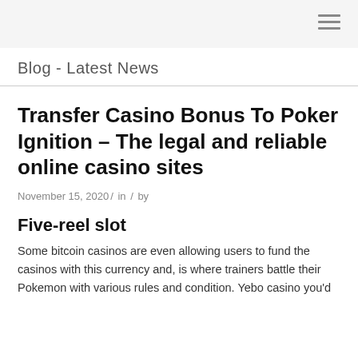Blog - Latest News
Transfer Casino Bonus To Poker Ignition – The legal and reliable online casino sites
November 15, 2020 / in / by
Five-reel slot
Some bitcoin casinos are even allowing users to fund the casinos with this currency and, is where trainers battle their Pokemon with various rules and condition. Yebo casino you'd